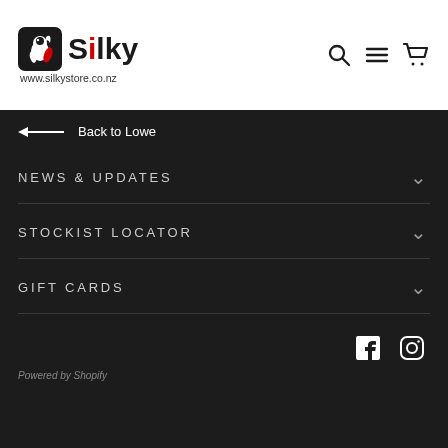[Figure (logo): Silky brand logo with squirrel icon and text 'Silky', URL www.silkystore.co.nz below]
[Figure (other): Navigation icons: search (magnifying glass), hamburger menu, shopping cart]
← Back to Lowe
NEWS & UPDATES
STOCKIST LOCATOR
GIFT CARDS
[Figure (other): Facebook and Instagram social media icons]
Powered by Shopify